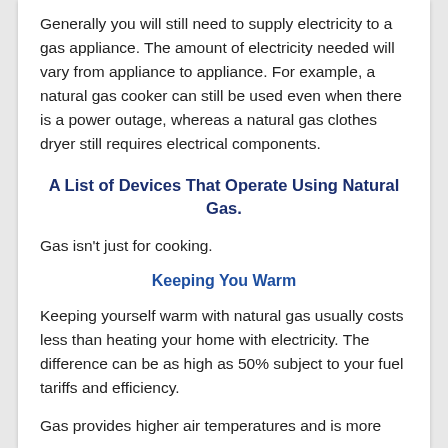Generally you will still need to supply electricity to a gas appliance. The amount of electricity needed will vary from appliance to appliance. For example, a natural gas cooker can still be used even when there is a power outage, whereas a natural gas clothes dryer still requires electrical components.
A List of Devices That Operate Using Natural Gas.
Gas isn't just for cooking.
Keeping You Warm
Keeping yourself warm with natural gas usually costs less than heating your home with electricity. The difference can be as high as 50% subject to your fuel tariffs and efficiency.
Gas provides higher air temperatures and is more